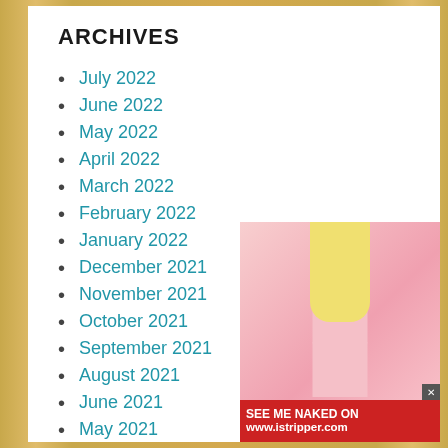ARCHIVES
July 2022
June 2022
May 2022
April 2022
March 2022
February 2022
January 2022
December 2021
November 2021
October 2021
September 2021
August 2021
June 2021
May 2021
[Figure (photo): Blonde woman in pink outfit with advertisement banner for www.istripper.com]